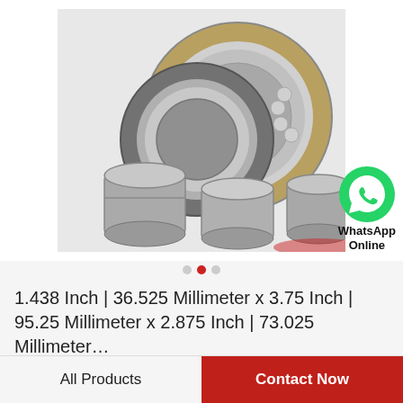[Figure (photo): Multiple industrial bearings (roller bearings, ball bearings, cylindrical bearings) arranged together on a white/grey background, with a WhatsApp Online badge in the lower right corner of the image.]
1.438 Inch | 36.525 Millimeter x 3.75 Inch | 95.25 Millimeter x 2.875 Inch | 73.025 Millimeter…
All Products
Contact Now